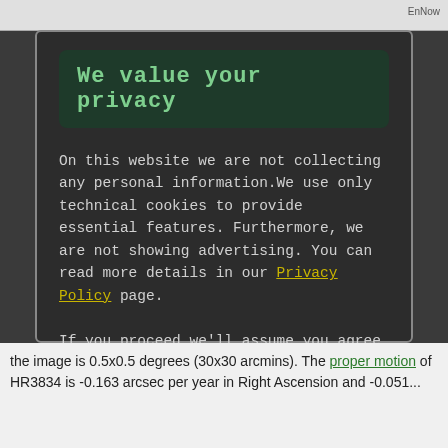We value your privacy
On this website we are not collecting any personal information.We use only technical cookies to provide essential features. Furthermore, we are not showing advertising. You can read more details in our Privacy Policy page.
If you proceed we'll assume you agree to receive our cookies. Thank you.
Proceed to TheSkyLive.com
the image is 0.5x0.5 degrees (30x30 arcmins). The proper motion of HR3834 is -0.163 arcsec per year in Right Ascension and -0.051...